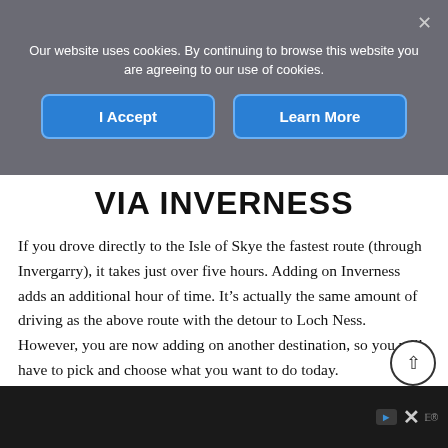Our website uses cookies. By continuing to browse this website you are agreeing to our use of cookies.
[Figure (screenshot): Cookie consent banner with 'I Accept' and 'Learn More' buttons on a grey background]
VIA INVERNESS
If you drove directly to the Isle of Skye the fastest route (through Invergarry), it takes just over five hours. Adding on Inverness adds an additional hour of time. It’s actually the same amount of driving as the above route with the detour to Loch Ness. However, you are now adding on another destination, so you will have to pick and choose what you want to do today.